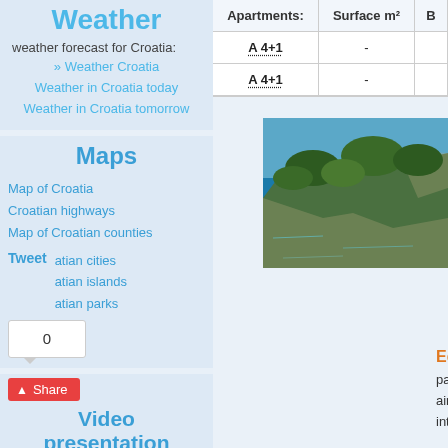Weather
weather forecast for Croatia:
» Weather Croatia
Weather in Croatia today
Weather in Croatia tomorrow
Maps
Map of Croatia
Croatian highways
Map of Croatian counties
Tweet  atian cities
atian islands
atian parks
0
Share
Video presentation
New ! Croatian apartments with video presentations !
| Apartments: | Surface m² | B |
| --- | --- | --- |
| A 4+1 | - |  |
| A 4+1 | - |  |
[Figure (photo): Aerial view of Croatian coastline with turquoise water, rocky cliffs and green trees]
Equipments in facility
parking place  ✓  garage
air-condition  ✓  pets allow
internet access  ✓  grill